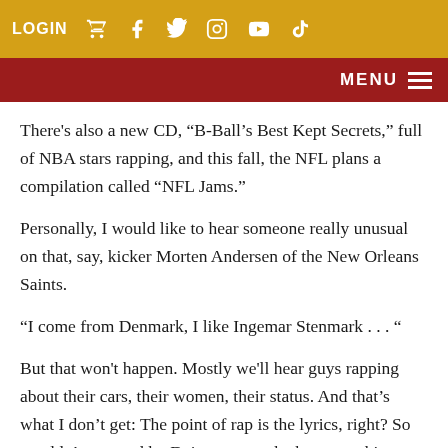LOGIN
MENU
There's also a new CD, “B-Ball’s Best Kept Secrets,” full of NBA stars rapping, and this fall, the NFL plans a compilation called “NFL Jams.”
Personally, I would like to hear someone really unusual on that, say, kicker Morten Andersen of the New Orleans Saints.
“I come from Denmark, I like Ingemar Stenmark . . . “
But that won't happen. Mostly we'll hear guys rapping about their cars, their women, their status. And that’s what I don’t get: The point of rap is the lyrics, right? So wouldn’t a record by Deion suggest he has something . .